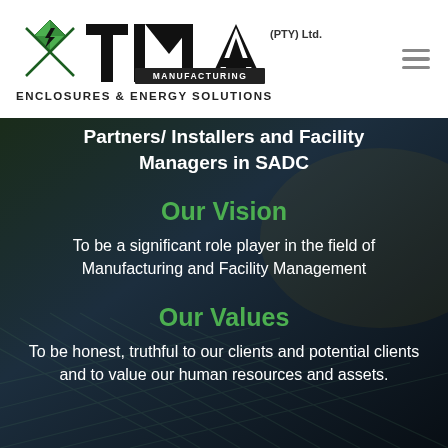[Figure (logo): TMA Manufacturing (PTY) Ltd. logo with green and black TMA lettering and a lightning bolt icon]
ENCLOSURES & ENERGY SOLUTIONS
Partners/ Installers and Facility Managers in SADC
Our Vision
To be a significant role player in the field of Manufacturing and Facility Management
Our Values
To be honest, truthful to our clients and potential clients and to value our human resources and assets.